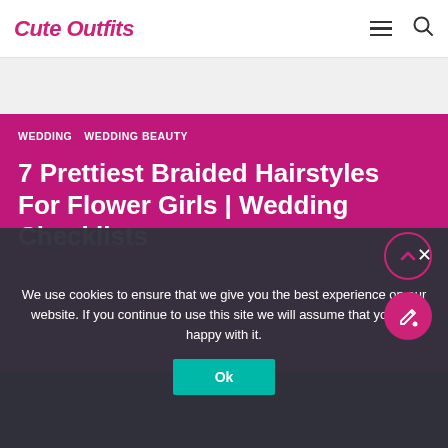Cute Outfits
WEDDING   WEDDING BEAUTY
7 Prettiest Braided Hairstyles For Flower Girls | Wedding Checklists
We use cookies to ensure that we give you the best experience on our website. If you continue to use this site we will assume that you are happy with it.